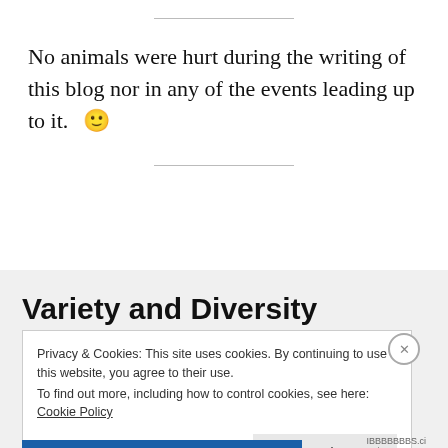No animals were hurt during the writing of this blog nor in any of the events leading up to it. 🙂
Variety and Diversity
Privacy & Cookies: This site uses cookies. By continuing to use this website, you agree to their use. To find out more, including how to control cookies, see here: Cookie Policy
Close and accept